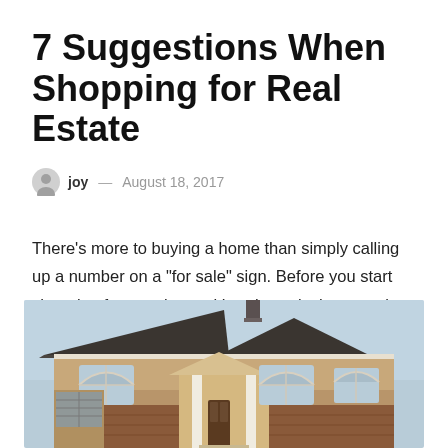7 Suggestions When Shopping for Real Estate
joy — August 18, 2017
There’s more to buying a home than simply calling up a number on a “for sale” sign. Before you start shopping for curtains and hand towels, here are just a few tips when shopping for real estate.
[Figure (photo): Exterior photo of a large two-story residential house with a dark shingled roof, tan stucco walls, white columns at the entrance, and arched windows, against a light blue sky.]